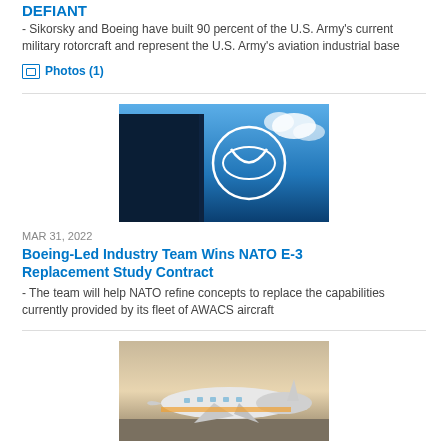DEFIANT
- Sikorsky and Boeing have built 90 percent of the U.S. Army's current military rotorcraft and represent the U.S. Army's aviation industrial base
Photos (1)
[Figure (photo): Boeing logo on a building against a blue sky with clouds]
MAR 31, 2022
Boeing-Led Industry Team Wins NATO E-3 Replacement Study Contract
- The team will help NATO refine concepts to replace the capabilities currently provided by its fleet of AWACS aircraft
[Figure (photo): Boeing aircraft on a runway at dusk/dawn]
MAR 31, 2022